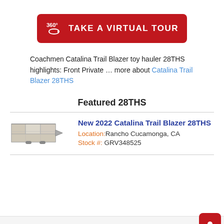[Figure (other): Red button with 360 degree icon and text TAKE A VIRTUAL TOUR]
Coachmen Catalina Trail Blazer toy hauler 28THS highlights: Front Private … more about Catalina Trail Blazer 28THS
Featured 28THS
[Figure (other): Floor plan image of Catalina Trail Blazer 28THS RV]
New 2022 Catalina Trail Blazer 28THS
Location: Rancho Cucamonga, CA
Stock #: GRV348525
Specifications